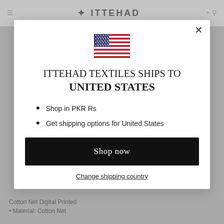[Figure (screenshot): Background website page for Ittehad Textiles with header logo and product page content partially visible behind a modal overlay.]
[Figure (illustration): United States flag SVG illustration displayed at top center of modal popup.]
ITTEHAD TEXTILES SHIPS TO UNITED STATES
Shop in PKR Rs
Get shipping options for United States
Shop now
Change shipping country
Cotton Net Digital Printed
Material: Cotton Net